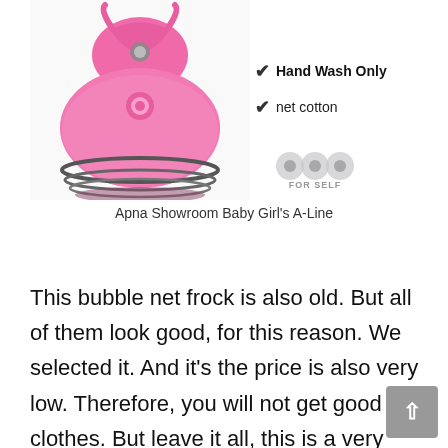[Figure (photo): Pink baby girl A-Line bubble net frock dress with silver flower embellishment and dark trim at hem]
✔ Hand Wash Only
✔ net cotton
[Figure (logo): FOR SELF badge with circular icons]
Apna Showroom Baby Girl's A-Line
This bubble net frock is also old. But all of them look good, for this reason. We selected it. And it's the price is also very low. Therefore, you will not get good clothes. But leave it all, this is a very designed net frock.